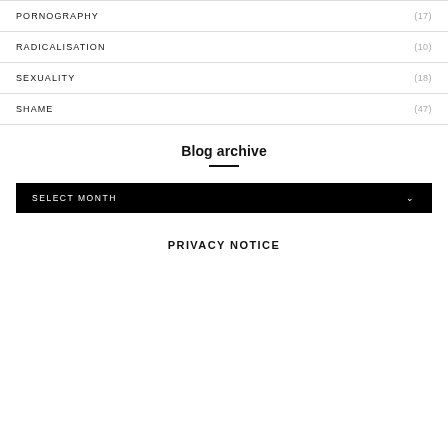PORNOGRAPHY (17)
RADICALISATION (10)
SEXUALITY (18)
SHAME (47)
Blog archive
SELECT MONTH
PRIVACY NOTICE